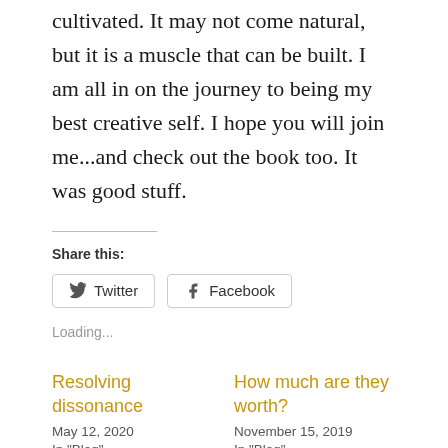cultivated. It may not come natural, but it is a muscle that can be built. I am all in on the journey to being my best creative self. I hope you will join me...and check out the book too. It was good stuff.
Share this:
Twitter
Facebook
Loading...
Resolving dissonance
May 12, 2020
In "Blog"
How much are they worth?
November 15, 2019
In "Blog"